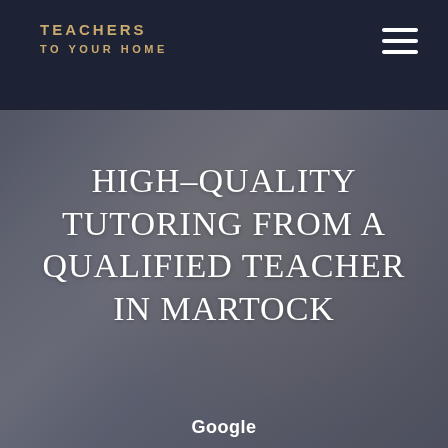TEACHERS TO YOUR HOME
[Figure (photo): Background hero image of a woman with blonde hair resting chin on hand, overlaid with dark semi-transparent layer giving a blue-grey tone]
HIGH-QUALITY TUTORING FROM A QUALIFIED TEACHER IN MARTOCK
Google